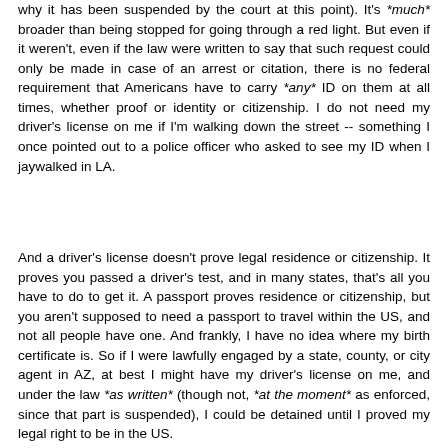why it has been suspended by the court at this point). It's *much* broader than being stopped for going through a red light. But even if it weren't, even if the law were written to say that such request could only be made in case of an arrest or citation, there is no federal requirement that Americans have to carry *any* ID on them at all times, whether proof or identity or citizenship. I do not need my driver's license on me if I'm walking down the street -- something I once pointed out to a police officer who asked to see my ID when I jaywalked in LA.
And a driver's license doesn't prove legal residence or citizenship. It proves you passed a driver's test, and in many states, that's all you have to do to get it. A passport proves residence or citizenship, but you aren't supposed to need a passport to travel within the US, and not all people have one. And frankly, I have no idea where my birth certificate is. So if I were lawfully engaged by a state, county, or city agent in AZ, at best I might have my driver's license on me, and under the law *as written* (though not, *at the moment* as enforced, since that part is suspended), I could be detained until I proved my legal right to be in the US.